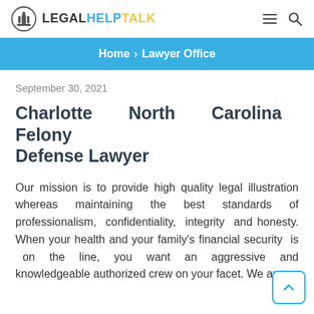LEGALHELPTALK
Home › Lawyer Office
September 30, 2021
Charlotte North Carolina Felony Defense Lawyer
Our mission is to provide high quality legal illustration whereas maintaining the best standards of professionalism, confidentiality, integrity and honesty. When your health and your family's financial security is on the line, you want an aggressive and knowledgeable authorized crew on your facet. We are